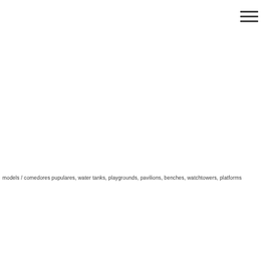[Figure (other): Hamburger menu icon (three horizontal lines) in the top right corner]
models / comedores pupulares, water tanks, playgrounds, pavilions, benches, watchtowers, platforms